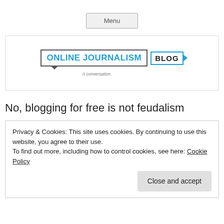Menu
[Figure (logo): Online Journalism Blog logo - speech bubble containing 'ONLINE JOURNALISM' in blue with 'BLOG' label in teal box with arrow, tagline 'A conversation.']
No, blogging for free is not feudalism
Privacy & Cookies: This site uses cookies. By continuing to use this website, you agree to their use.
To find out more, including how to control cookies, see here: Cookie Policy
Close and accept